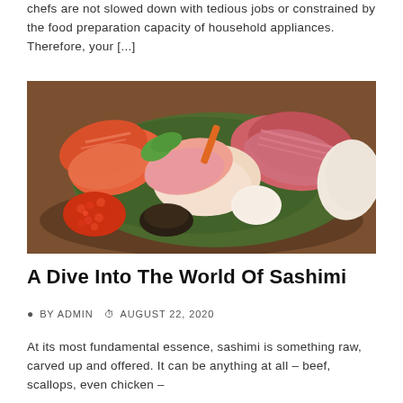chefs are not slowed down with tedious jobs or constrained by the food preparation capacity of household appliances. Therefore, your [...]
[Figure (photo): A colorful sashimi platter with various raw fish slices including salmon, tuna, and other seafood arranged on a bed of green leaves with fish roe, presented on a dark woven tray.]
A Dive Into The World Of Sashimi
BY ADMIN  AUGUST 22, 2020
At its most fundamental essence, sashimi is something raw, carved up and offered. It can be anything at all – beef, scallops, even chicken –